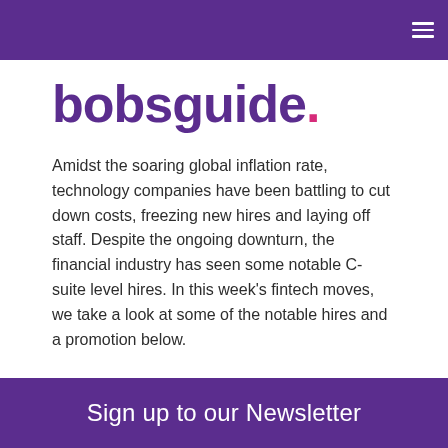bobsguide.
bobsguide.
Amidst the soaring global inflation rate, technology companies have been battling to cut down costs, freezing new hires and laying off staff. Despite the ongoing downturn, the financial industry has seen some notable C-suite level hires. In this week's fintech moves, we take a look at some of the notable hires and a promotion below.
Sign up to our Newsletter